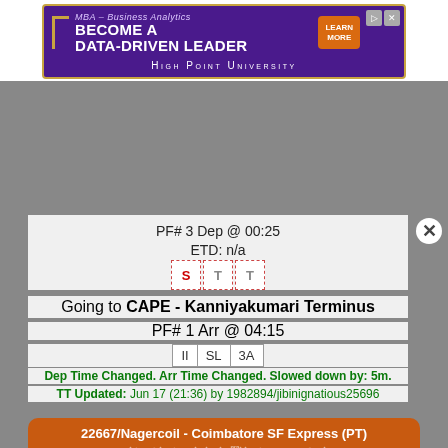[Figure (screenshot): MBA Business Analytics advertisement banner for High Point University]
PF# 3 Dep @ 00:25
ETD: n/a
S T T (day boxes)
Going to CAPE - Kanniyakumari Terminus
PF# 1 Arr @ 04:15
II SL 3A
Dep Time Changed. Arr Time Changed. Slowed down by: 5m.
TT Updated: Jun 17 (21:36) by 1982894/jibinignatious25696
22667/Nagercoil - Coimbatore SF Express (PT)
VPT - Virudunagar Junction
PF# -- Dep @ 00:40
ETD: n/a
S M T W T F S (day boxes)